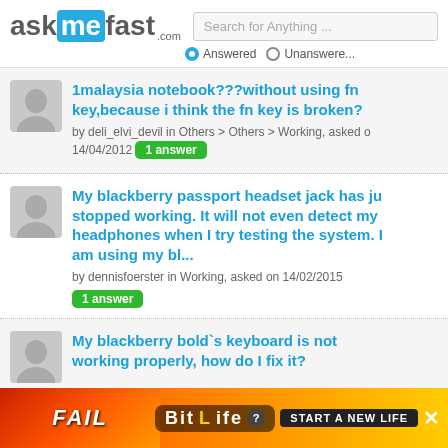[Figure (logo): AskMeFast.com logo with blue 'me' highlight and search bar showing 'Search for Anything ...' with Answered/Unanswered radio buttons]
1malaysia notebook???without using fn key,because i think the fn key is broken? by deli_elvi_devil in Others > Others > Working, asked on 14/04/2012 1 answer
My blackberry passport headset jack has just stopped working. It will not even detect my headphones when I try testing the system. I am using my bl... by dennisfoerster in Working, asked on 14/02/2015 1 answer
My blackberry bold`s keyboard is not working properly, how do I fix it?
[Figure (photo): BitLife advertisement banner with FAIL text, animated character, fire graphics, and 'START A NEW LIFE' tagline]